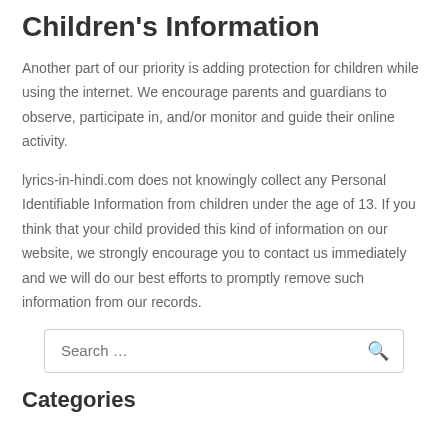Children's Information
Another part of our priority is adding protection for children while using the internet. We encourage parents and guardians to observe, participate in, and/or monitor and guide their online activity.
lyrics-in-hindi.com does not knowingly collect any Personal Identifiable Information from children under the age of 13. If you think that your child provided this kind of information on our website, we strongly encourage you to contact us immediately and we will do our best efforts to promptly remove such information from our records.
Search …
Categories